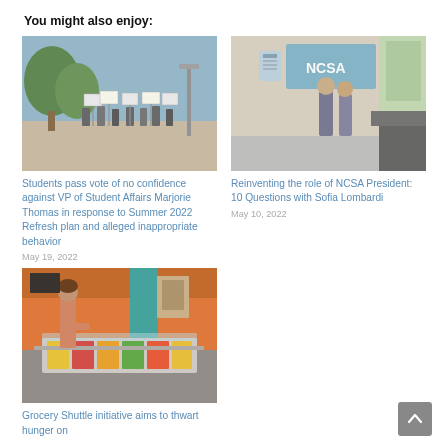You might also enjoy:
[Figure (photo): Outdoor photo of students gathered with signs, campus protest scene, trees and signage in background]
Students pass vote of no confidence against VP of Student Affairs Marjorie Thomas in response to Summer 2022 Refresh plan and alleged inappropriate behavior
May 19, 2022
[Figure (photo): Indoor photo of two people standing in an office with NCSA sign on wall, desk and computer in background]
Reinventing the role of NCSA President: 10 Questions with Sofia Lombardi
May 10, 2022
[Figure (photo): Indoor cafeteria photo of a person looking at food displayed in a buffet-style counter with colorful food items]
Grocery Shuttle initiative aims to thwart hunger on